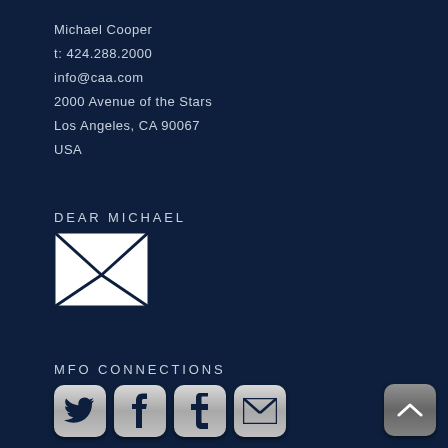Michael Cooper
t: 424.288.2000
info@caa.com
2000 Avenue of the Stars
Los Angeles, CA 90067
USA
DEAR MICHAEL
[Figure (illustration): White open envelope icon with X fold lines on dark navy background]
MFO CONNECTIONS
[Figure (illustration): Row of social media icon buttons: Twitter bird, Facebook f, Tumblr t, email envelope, and a grey scroll-to-top arrow button]